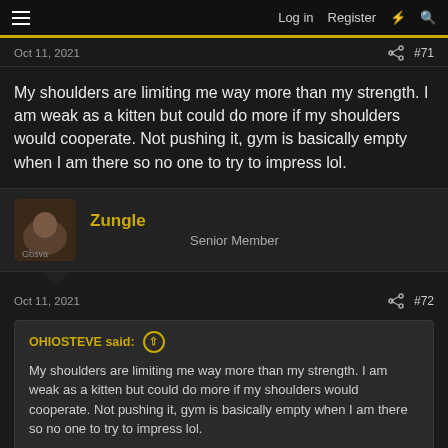Log in  Register
Oct 11, 2021  #71
My shoulders are limiting me way more than my strength. I am weak as a kitten but could do more if my shoulders would cooperate. Not pushing it, gym is basically empty when I am there so no one to try to impress lol.
Zungle  Senior Member
Oct 11, 2021  #72
OHIOSTEVE said: My shoulders are limiting me way more than my strength. I am weak as a kitten but could do more if my shoulders would cooperate. Not pushing it, gym is basically empty when I am there so no one to try to impress lol.